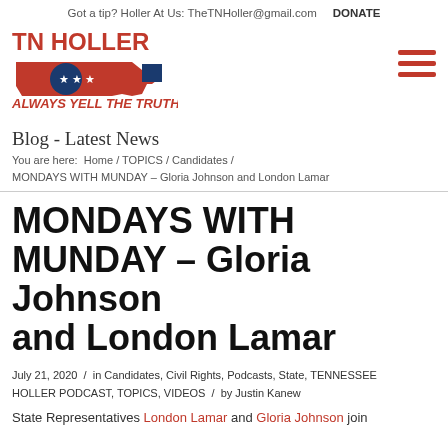Got a tip? Holler At Us: TheTNHoller@gmail.com   DONATE
[Figure (logo): TN Holler logo — red Tennessee state outline with blue circle and three white stars, bold red text 'TN HOLLER' above, red italic text 'ALWAYS YELL THE TRUTH.' below]
Blog - Latest News
You are here:  Home / TOPICS / Candidates / MONDAYS WITH MUNDAY – Gloria Johnson and London Lamar
MONDAYS WITH MUNDAY – Gloria Johnson and London Lamar
July 21, 2020  /  in Candidates, Civil Rights, Podcasts, State, TENNESSEE HOLLER PODCAST, TOPICS, VIDEOS  /  by Justin Kanew
State Representatives London Lamar and Gloria Johnson join